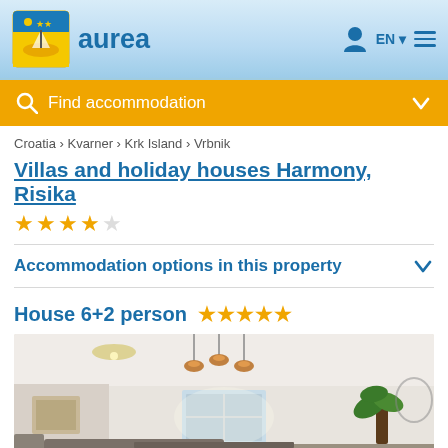aurea
Find accommodation
Croatia › Kvarner › Krk Island › Vrbnik
Villas and holiday houses Harmony, Risika
Accommodation options in this property
House 6+2 person ★★★★★
[Figure (photo): Interior photo of a holiday house living/dining room with white walls, hanging copper pendant lights, a chandelier, and a potted plant.]